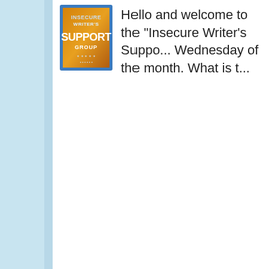[Figure (illustration): Insecure Writer's Support Group logo — blue border, orange and brown background with stylized text reading INSECURE WRITER'S SUPPORT GROUP]
Hello and welcome to the "Insecure Writer's Suppo... Wednesday of the month. What is t...